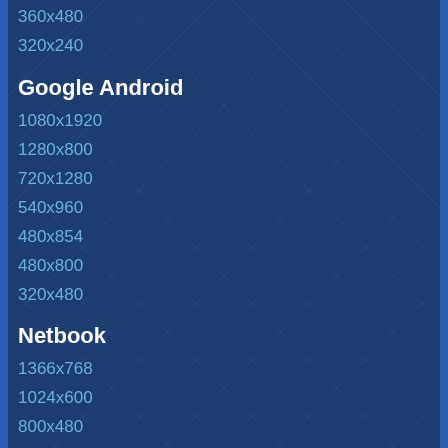360x480
320x240
Google Android
1080x1920
1280x800
720x1280
540x960
480x854
480x800
320x480
Netbook
1366x768
1024x600
800x480
Playstation
960x544 PS Vita
480x272 PSP
Windows Phone 7/8
768x1280